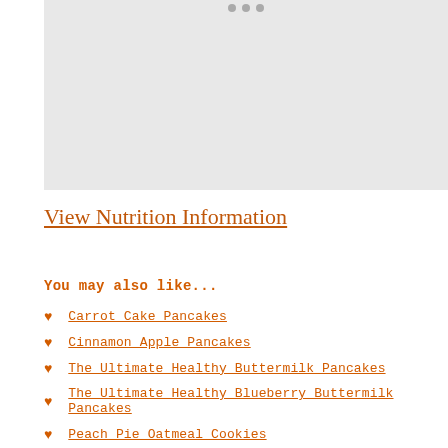[Figure (photo): Placeholder image area with navigation dots at top]
View Nutrition Information
You may also like...
Carrot Cake Pancakes
Cinnamon Apple Pancakes
The Ultimate Healthy Buttermilk Pancakes
The Ultimate Healthy Blueberry Buttermilk Pancakes
Peach Pie Oatmeal Cookies